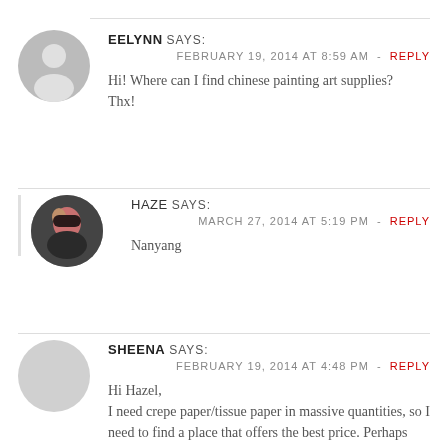EELYNN SAYS: FEBRUARY 19, 2014 AT 8:59 AM - REPLY
Hi! Where can I find chinese painting art supplies? Thx!
HAZE SAYS: MARCH 27, 2014 AT 5:19 PM - REPLY
Nanyang
SHEENA SAYS: FEBRUARY 19, 2014 AT 4:48 PM - REPLY
Hi Hazel,
I need crepe paper/tissue paper in massive quantities, so I need to find a place that offers the best price. Perhaps you know where?